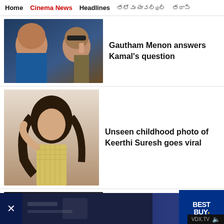Home | Cinema News | Headlines | [Tamil text] | [Tamil text]
[Figure (photo): Two men: one bald heavyset man and one man in sunglasses talking on phone, movie scene]
Gautham Menon answers Kamal's question
[Figure (photo): Young woman with long brown hair in a light yellow checkered outfit posing]
Unseen childhood photo of Keerthi Suresh goes viral
[Figure (photo): Director Shankar on left, couple facing each other on right, movie scene]
Director Shankar praises Dhanush's Thiruchitrambalam
[Figure (screenshot): Best Buy advertisement banner at bottom of page with VDX.TV label]